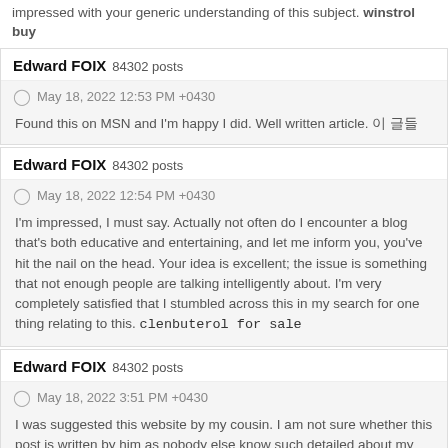impressed with your generic understanding of this subject. winstrol buy
Edward FOIX  84302 posts
May 18, 2022 12:53 PM +0430
Found this on MSN and I'm happy I did. Well written article. 이 글들
Edward FOIX  84302 posts
May 18, 2022 12:54 PM +0430
I'm impressed, I must say. Actually not often do I encounter a blog that's both educative and entertaining, and let me inform you, you've hit the nail on the head. Your idea is excellent; the issue is something that not enough people are talking intelligently about. I'm very completely satisfied that I stumbled across this in my search for one thing relating to this. clenbuterol for sale
Edward FOIX  84302 posts
May 18, 2022 3:51 PM +0430
I was suggested this website by my cousin. I am not sure whether this post is written by him as nobody else know such detailed about my trouble. You are wonderful! Thanks!Nice blog here! Also your web site loads up fast! What web host are you using? Can I get your affiliate link to your host? I wish my website loaded up as quickly as yours lol 감사합니다